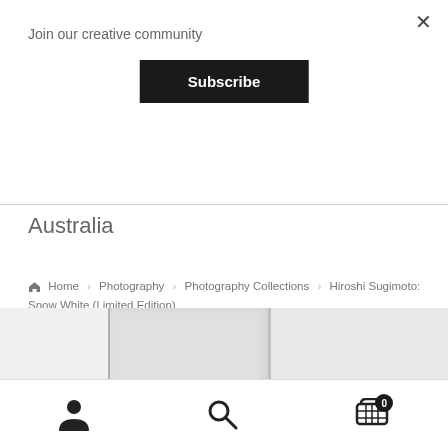Join our creative community
Subscribe
×
Australia
Home › Photography › Photography Collections › Hiroshi Sugimoto: Snow White (Limited Edition)
[Figure (photo): Book cover image showing two panels of a white/light grey book]
[Figure (other): Bottom navigation bar with user icon, search icon, and cart icon showing 0 items]